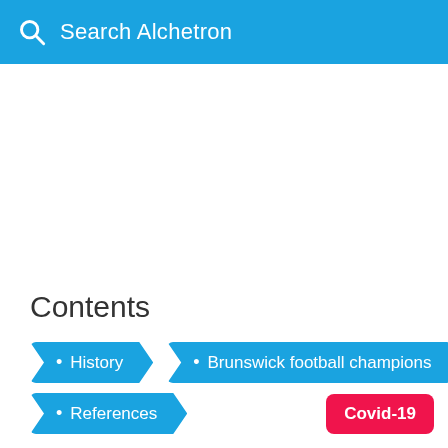Search Alchetron
Contents
History
Brunswick football champions
References
Covid-19